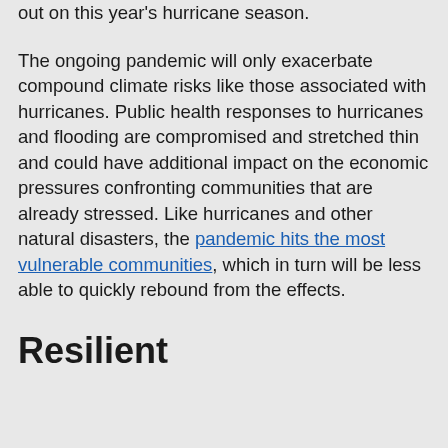Neither state is guaranteed to miss out on this year's hurricane season.
The ongoing pandemic will only exacerbate compound climate risks like those associated with hurricanes. Public health responses to hurricanes and flooding are compromised and stretched thin and could have additional impact on the economic pressures confronting communities that are already stressed. Like hurricanes and other natural disasters, the pandemic hits the most vulnerable communities, which in turn will be less able to quickly rebound from the effects.
Resilient